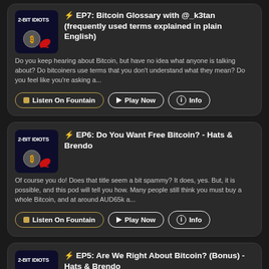[Figure (screenshot): 2-Bit Idiots podcast episode list showing three episodes with thumbnails, titles, descriptions, and action buttons on dark background]
⚡ EP7: Bitcoin Glossary with @_k3tan (frequently used terms explained in plain English)
Do you keep hearing about Bitcoin, but have no idea what anyone is talking about?  Do bitcoiners use terms that you don't understand what they mean?  Do you feel like you're asking a...
⚡ EP6: Do You Want Free Bitcoin? - Hats & Brendo
Of course you do! Does that title seem a bit spammy?  It does, yes.  But, it is possible, and this pod will tell you how. Many people still think you must buy a whole Bitcoin, and at around AUD65k a...
⚡ EP5: Are We Right About Bitcoin? (Bonus) - Hats & Brendo
In this episode @BitcoinBrendo asks @StackingHats the question all real bitcoiners ask themselves regularly..."Are we right about